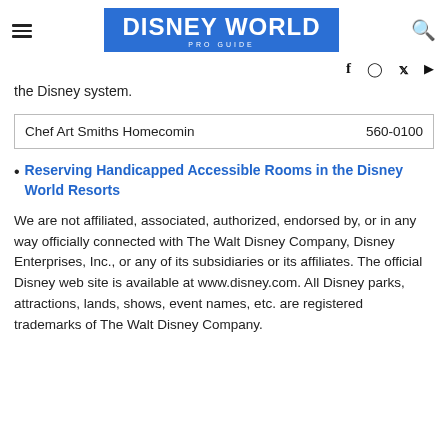DISNEY WORLD PRO GUIDE
the Disney system.
| Chef Art Smiths Homecomin | 560-0100 |
| --- | --- |
Reserving Handicapped Accessible Rooms in the Disney World Resorts
We are not affiliated, associated, authorized, endorsed by, or in any way officially connected with The Walt Disney Company, Disney Enterprises, Inc., or any of its subsidiaries or its affiliates. The official Disney web site is available at www.disney.com. All Disney parks, attractions, lands, shows, event names, etc. are registered trademarks of The Walt Disney Company.